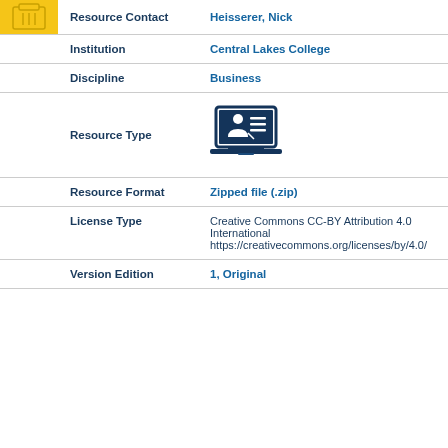| Field | Value |
| --- | --- |
| Resource Contact | Heisserer, Nick |
| Institution | Central Lakes College |
| Discipline | Business |
| Resource Type | [laptop/presentation icon] |
| Resource Format | Zipped file (.zip) |
| License Type | Creative Commons CC-BY Attribution 4.0 International https://creativecommons.org/licenses/by/4.0/ |
| Version Edition | 1, Original |